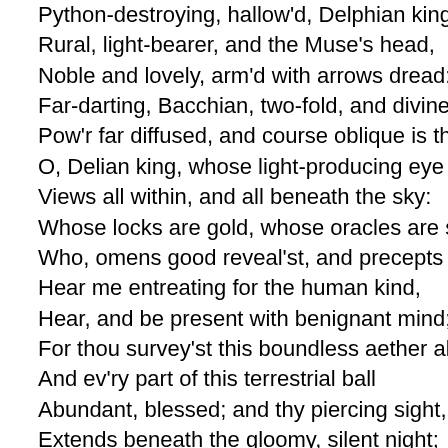Python-destroying, hallow'd, Delphian king:
Rural, light-bearer, and the Muse's head,
Noble and lovely, arm'd with arrows dread:
Far-darting, Bacchian, two-fold, and divine,
Pow'r far diffused, and course oblique is thine.
O, Delian king, whose light-producing eye
Views all within, and all beneath the sky:
Whose locks are gold, whose oracles are sure,
Who, omens good reveal'st, and precepts pure:
Hear me entreating for the human kind,
Hear, and be present with benignant mind;
For thou survey'st this boundless aether all,
And ev'ry part of this terrestrial ball
Abundant, blessed; and thy piercing sight,
Extends beneath the gloomy, silent night;
Beyond the darkness, starry-ey'd, profound,
The stable roots, deep fix'd by thee are found